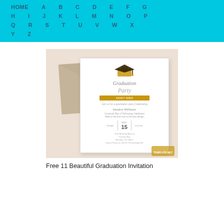HOME A B C D E F G H I J K L M N O P Q R S T U V W X Y Z
[Figure (photo): A graduation party invitation card with gold glitter mortarboard cap, elegant script text reading 'Graduation Party', an envelope behind it, on a beige background. Template.net watermark visible.]
Free 11 Beautiful Graduation Invitation